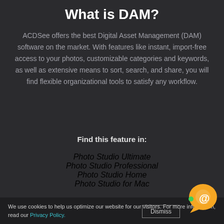What is DAM?
ACDSee offers the best Digital Asset Management (DAM) software on the market. With features like instant, import-free access to your photos, customizable categories and keywords, as well as extensive means to sort, search, and share, you will find flexible organizational tools to satisfy any workflow.
Find this feature in:
Photo Studio Ultimate
Photo Studio Professional
Photo Studio Home
Photo Studio for Mac
We use cookies to help us optimize our website for our visitors. For more information, read our Privacy Policy. Dismiss